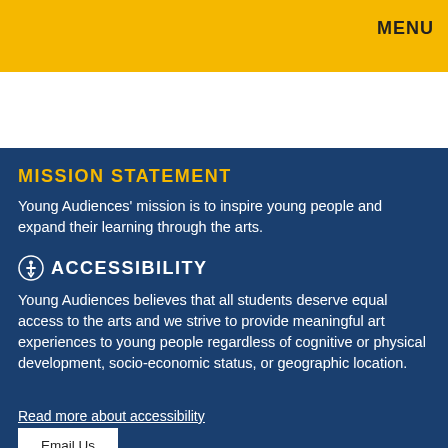MENU
MISSION STATEMENT
Young Audiences' mission is to inspire young people and expand their learning through the arts.
ACCESSIBILITY
Young Audiences believes that all students deserve equal access to the arts and we strive to provide meaningful art experiences to young people regardless of cognitive or physical development, socio-economic status, or geographic location.
Read more about accessibility
Email Us